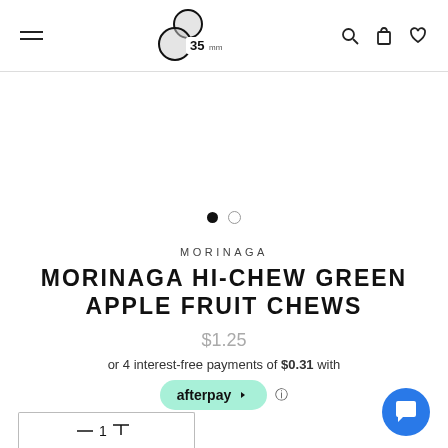35mm logo header with hamburger menu, search, cart, and wishlist icons
[Figure (illustration): Product image carousel with two navigation dots (first dot filled/active, second dot empty)]
MORINAGA
MORINAGA HI-CHEW GREEN APPLE FRUIT CHEWS
$1.25
or 4 interest-free payments of $0.31 with
[Figure (logo): Afterpay logo badge in mint/teal color with info icon]
[Figure (illustration): Quantity selector box at bottom left, partially visible]
[Figure (illustration): Blue chat bubble icon at bottom right]